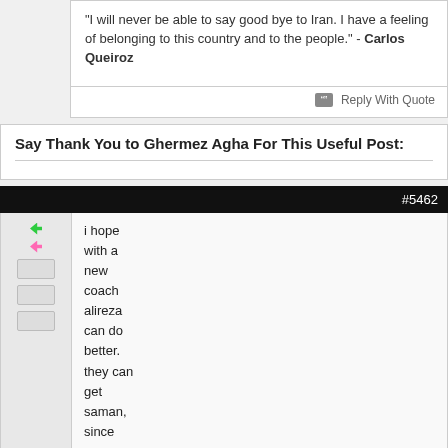"I will never be able to say good bye to Iran. I have a feeling of belonging to this country and to the people." - Carlos Queiroz
Reply With Quote
Say Thank You to Ghermez Agha For This Useful Post:
#5462
i hope with a new coach alireza can do better. they can get saman, since saman also have a swedish